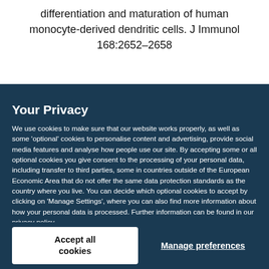differentiation and maturation of human monocyte-derived dendritic cells. J Immunol 168:2652–2658
Your Privacy
We use cookies to make sure that our website works properly, as well as some 'optional' cookies to personalise content and advertising, provide social media features and analyse how people use our site. By accepting some or all optional cookies you give consent to the processing of your personal data, including transfer to third parties, some in countries outside of the European Economic Area that do not offer the same data protection standards as the country where you live. You can decide which optional cookies to accept by clicking on 'Manage Settings', where you can also find more information about how your personal data is processed. Further information can be found in our privacy policy.
Accept all cookies
Manage preferences